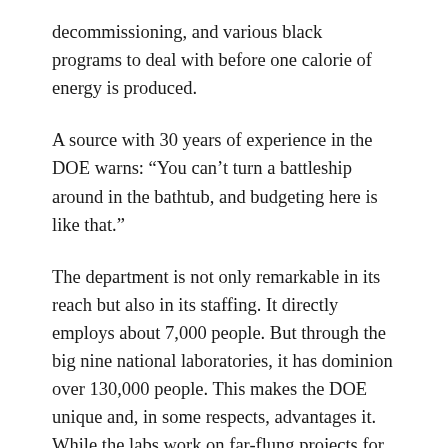decommissioning, and various black programs to deal with before one calorie of energy is produced.
A source with 30 years of experience in the DOE warns: “You can’t turn a battleship around in the bathtub, and budgeting here is like that.”
The department is not only remarkable in its reach but also in its staffing. It directly employs about 7,000 people. But through the big nine national laboratories, it has dominion over 130,000 people. This makes the DOE unique and, in some respects, advantages it. While the labs work on far-flung projects for other agencies, and sometimes private corporations, they are controlled and funded by DOE. One secretary told me: “It’s like having a private army. The labs, with all of their Ph.Ds will do anything so long as you fund